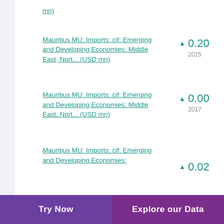mn)
Mauritius MU: Imports: cif: Emerging and Developing Economies: Middle East, Nort... (USD mn)
▲ 0.20
2015
Mauritius MU: Imports: cif: Emerging and Developing Economies: Middle East, Nort... (USD mn)
▲ 0.00
2017
Mauritius MU: Imports: cif: Emerging and Developing Economies: Middle East, Nort...
▲ 0.02
Try Now   Explore our Data